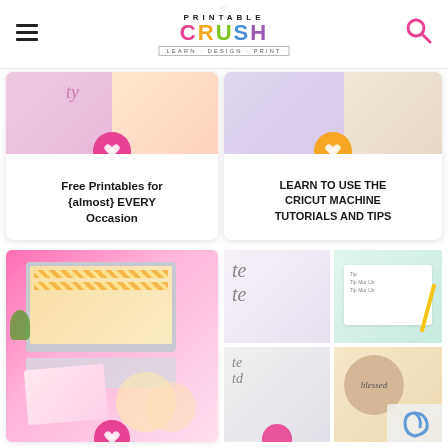Printable Crush — Learn · Design · Print
[Figure (screenshot): Card with craft photos and pink heart icon — Free Printables for {almost} EVERY Occasion]
[Figure (screenshot): Card with craft photos and orange heart icon — LEARN TO USE THE CRICUT MACHINE TUTORIALS AND TIPS]
[Figure (photo): Pink desktop flatlay with laptop and printable stickers]
[Figure (photo): Four-panel collage of hand lettering and planner supplies]